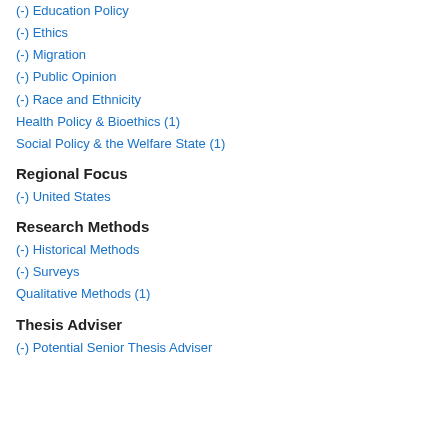(-) Education Policy
(-) Ethics
(-) Migration
(-) Public Opinion
(-) Race and Ethnicity
Health Policy & Bioethics (1)
Social Policy & the Welfare State (1)
Regional Focus
(-) United States
Research Methods
(-) Historical Methods
(-) Surveys
Qualitative Methods (1)
Thesis Adviser
(-) Potential Senior Thesis Adviser